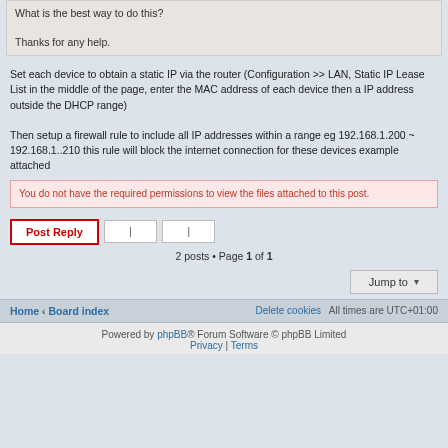What is the best way to do this?

Thanks for any help.
Set each device to obtain a static IP via the router (Configuration >> LAN, Static IP Lease List in the middle of the page, enter the MAC address of each device then a IP address outside the DHCP range)
Then setup a firewall rule to include all IP addresses within a range eg 192.168.1.200 ~ 192.168.1..210 this rule will block the internet connection for these devices example attached
You do not have the required permissions to view the files attached to this post.
Post Reply
2 posts • Page 1 of 1
Jump to
Home ‹ Board index   Delete cookies   All times are UTC+01:00
Powered by phpBB® Forum Software © phpBB Limited
Privacy | Terms